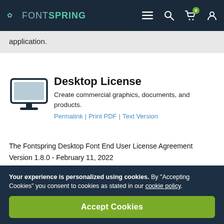FONTSPRING — navigation bar with menu, search, cart (0), and user icons
application.
Desktop License
Create commercial graphics, documents, and products.
Permalink | Print PDF | Text Version
The Fontspring Desktop Font End User License Agreement
Version 1.8.0 - February 11, 2022
Your experience is personalized using cookies. By "Accepting Cookies" you consent to cookies as stated in our cookie policy.